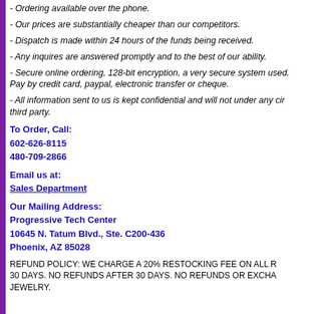- Ordering available over the phone.
- Our prices are substantially cheaper than our competitors.
- Dispatch is made within 24 hours of the funds being received.
- Any inquires are answered promptly and to the best of our ability.
- Secure online ordering, 128-bit encryption, a very secure system used. Pay by credit card, paypal, electronic transfer or cheque.
- All information sent to us is kept confidential and will not under any circumstances be passed to a third party.
To Order, Call:
602-626-8115
480-709-2866
Email us at:
Sales Department
Our Mailing Address:
Progressive Tech Center
10645 N. Tatum Blvd., Ste. C200-436
Phoenix, AZ 85028
REFUND POLICY: WE CHARGE A 20% RESTOCKING FEE ON ALL RETURNS WITHIN 30 DAYS. NO REFUNDS AFTER 30 DAYS. NO REFUNDS OR EXCHANGES ON JEWELRY.